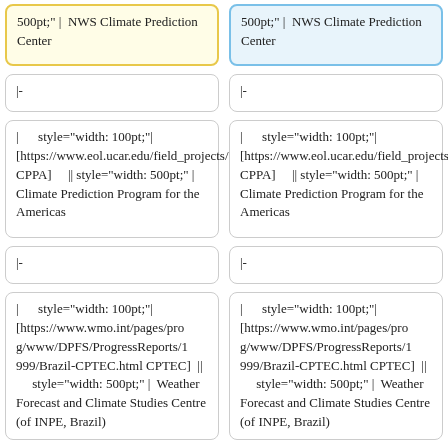500pt;" | NWS Climate Prediction Center
500pt;" | NWS Climate Prediction Center
|-
|-
| style="width: 100pt;"| [https://www.eol.ucar.edu/field_projects/cppa CPPA] || style="width: 500pt;" | Climate Prediction Program for the Americas
| style="width: 100pt;"| [https://www.eol.ucar.edu/field_projects/cppa CPPA] || style="width: 500pt;" | Climate Prediction Program for the Americas
|-
|-
| style="width: 100pt;"| [https://www.wmo.int/pages/prog/www/DPFS/ProgressReports/1999/Brazil-CPTEC.html CPTEC] || style="width: 500pt;" | Weather Forecast and Climate Studies Centre (of INPE, Brazil)
| style="width: 100pt;"| [https://www.wmo.int/pages/prog/www/DPFS/ProgressReports/1999/Brazil-CPTEC.html CPTEC] || style="width: 500pt;" | Weather Forecast and Climate Studies Centre (of INPE, Brazil)